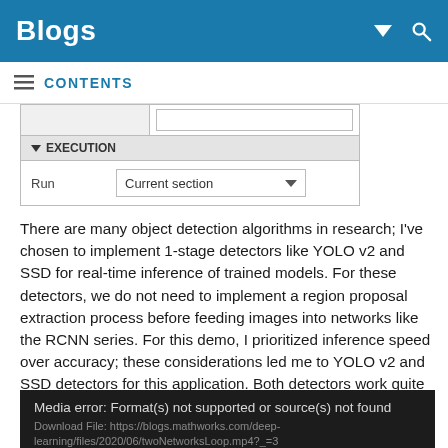Blogs
CONTENTS
[Figure (screenshot): UI panel showing EXECUTION section with Run dropdown set to 'Current section']
There are many object detection algorithms in research; I've chosen to implement 1-stage detectors like YOLO v2 and SSD for real-time inference of trained models. For these detectors, we do not need to implement a region proposal extraction process before feeding images into networks like the RCNN series. For this demo, I prioritized inference speed over accuracy; these considerations led me to YOLO v2 and SSD detectors for this application. Both detectors work quite well to detect masks as shown below.
[Figure (screenshot): Media error box: 'Media error: Format(s) not supported or source(s) not found'. Download File: https://blogs.mathworks.com/deep-learning/files/2020/06/twoNetworksLoop.mp4?_=3]